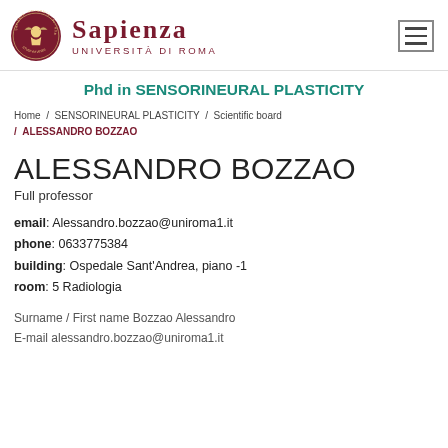[Figure (logo): Sapienza Università di Roma logo with circular seal and text]
Phd in SENSORINEURAL PLASTICITY
Home / SENSORINEURAL PLASTICITY / Scientific board / ALESSANDRO BOZZAO
ALESSANDRO BOZZAO
Full professor
email: Alessandro.bozzao@uniroma1.it
phone: 0633775384
building: Ospedale Sant'Andrea, piano -1
room: 5 Radiologia
Surname / First name Bozzao Alessandro
E-mail alessandro.bozzao@uniroma1.it